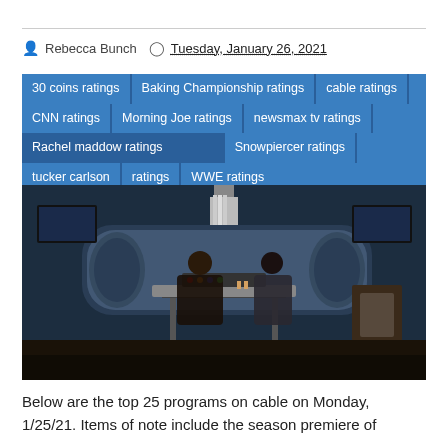Rebecca Bunch | Tuesday, January 26, 2021
30 coins ratings
Baking Championship ratings
cable ratings
CNN ratings
Morning Joe ratings
newsmax tv ratings
Rachel maddow ratings
Snowpiercer ratings
tucker carlson ratings
WWE ratings
[Figure (photo): Two people sitting at a control-room table inside a futuristic train cabin with screens, blinking lights, and a chandelier overhead — a scene from Snowpiercer.]
Below are the top 25 programs on cable on Monday, 1/25/21. Items of note include the season premiere of